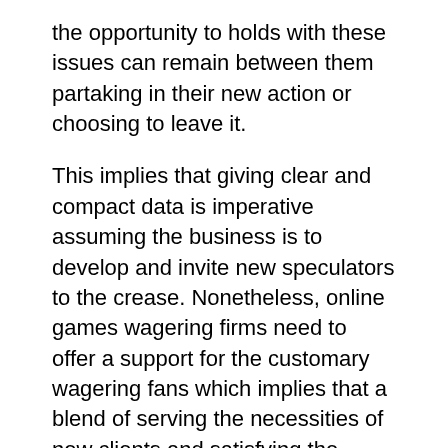the opportunity to holds with these issues can remain between them partaking in their new action or choosing to leave it.
This implies that giving clear and compact data is imperative assuming the business is to develop and invite new speculators to the crease. Nonetheless, online games wagering firms need to offer a support for the customary wagering fans which implies that a blend of serving the necessities of new clients and satisfying the assumptions for old clients is immensely fundamental for any web-based games wagering firm.
The data given by numerous individuals of these locales can assist offset with excursion the chances to a more attractive fight